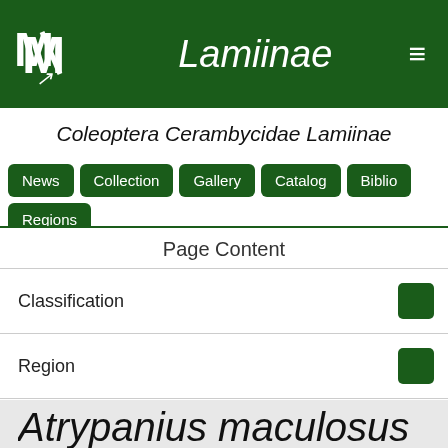Lamiinae
Coleoptera Cerambycidae Lamiinae
News
Collection
Gallery
Catalog
Biblio
Regions
Page Content
Classification
Region
Group
Atrypanius maculosus
Atrypanius maculosus is the scientific name of a group of Lamiinae -also called lamiines or flat-faced longhorned beetles-